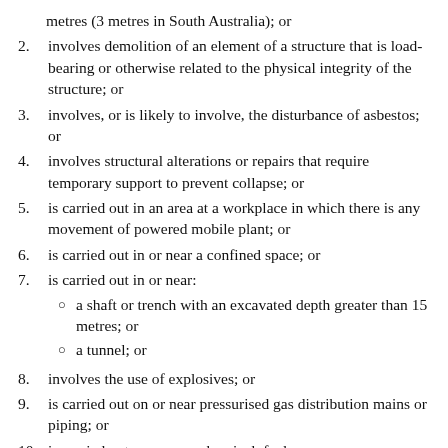metres (3 metres in South Australia); or
2. involves demolition of an element of a structure that is load-bearing or otherwise related to the physical integrity of the structure; or
3. involves, or is likely to involve, the disturbance of asbestos; or
4. involves structural alterations or repairs that require temporary support to prevent collapse; or
5. is carried out in an area at a workplace in which there is any movement of powered mobile plant; or
6. is carried out in or near a confined space; or
7. is carried out in or near:
a shaft or trench with an excavated depth greater than 1.5 metres; or
a tunnel; or
8. involves the use of explosives; or
9. is carried out on or near pressurised gas distribution mains or piping; or
10. is carried out on or near chemical, fuel or